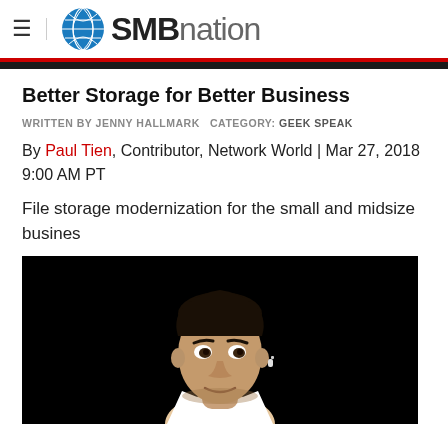SMBnation
Better Storage for Better Business
WRITTEN BY JENNY HALLMARK  CATEGORY: GEEK SPEAK
By Paul Tien, Contributor, Network World | Mar 27, 2018 9:00 AM PT
File storage modernization for the small and midsize busines
[Figure (photo): Portrait photo of a man against a black background, wearing a white shirt, with a bluetooth earpiece]